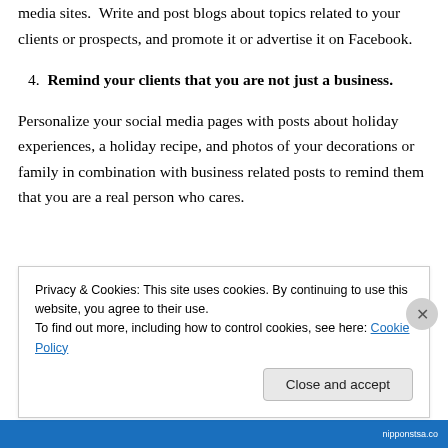media sites. Write and post blogs about topics related to your clients or prospects, and promote it or advertise it on Facebook.
4. Remind your clients that you are not just a business.
Personalize your social media pages with posts about holiday experiences, a holiday recipe, and photos of your decorations or family in combination with business related posts to remind them that you are a real person who cares.
Privacy & Cookies: This site uses cookies. By continuing to use this website, you agree to their use. To find out more, including how to control cookies, see here: Cookie Policy